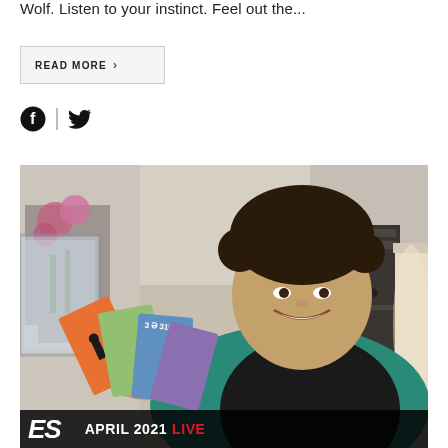Wolf. Listen to your instinct. Feel out the...
READ MORE >
[Figure (illustration): Social media icons: Facebook (circle f) and Twitter (bird), separated by a vertical line]
[Figure (photo): A smiling man with curly dark hair wearing a black and teal raglan t-shirt, holding a fan of tarot cards in front of him. Background shows a living room interior with plants and shelving. Overlay bar at bottom reads 'ES  APRIL 2021 LIVE' with 'LIVE' in red.]